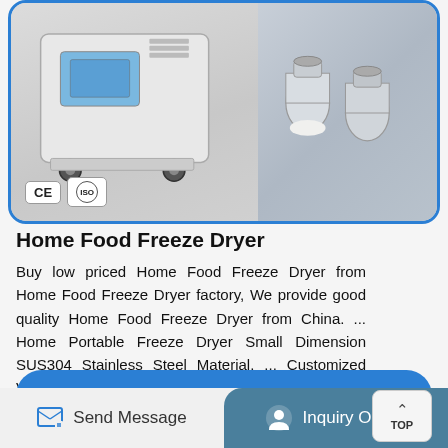[Figure (photo): Product card showing a Home Food Freeze Dryer machine on the left with CE and ISO certification badges, and glass vials/bottles on the right, set inside a rounded blue-bordered card.]
Home Food Freeze Dryer
Buy low priced Home Food Freeze Dryer from Home Food Freeze Dryer factory, We provide good quality Home Food Freeze Dryer from China. ... Home Portable Freeze Dryer Small Dimension SUS304 Stainless Steel Material. ... Customized Vegetable / Flower Vacuum Cooler 1-12 Pallets Large Cooling Capacity.
[Figure (other): Blue rounded button with text 'Get Details' and a right arrow on the right side.]
Send Message   Inquiry Online